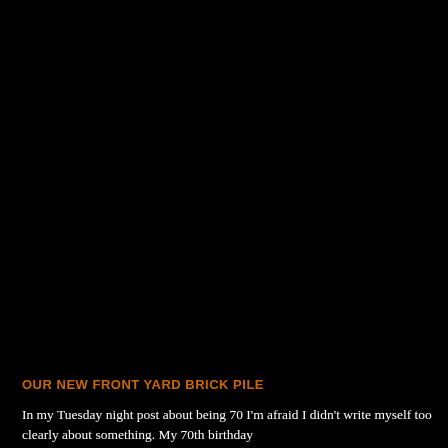[Figure (photo): A flatbed trailer loaded with bricks/pavers parked on dry grass or dirt ground, outdoor setting with trees/shrubs in background]
UNLOADING & STACKING THE BRICKS
[Figure (photo): Bricks/pavers stacked in groups on dry ground in a front yard, arranged in several small piles]
OUR NEW FRONT YARD BRICK PILE
In my Tuesday night post about being 70 I'm afraid I didn't write myself too clearly about something.  My 70th birthday